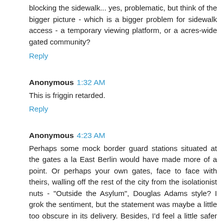blocking the sidewalk... yes, problematic, but think of the bigger picture - which is a bigger problem for sidewalk access - a temporary viewing platform, or a acres-wide gated community?
Reply
Anonymous 1:32 AM
This is friggin retarded.
Reply
Anonymous 4:23 AM
Perhaps some mock border guard stations situated at the gates a la East Berlin would have made more of a point. Or perhaps your own gates, face to face with theirs, walling off the rest of the city from the isolationist nuts - "Outside the Asylum", Douglas Adams style? I grok the sentiment, but the statement was maybe a little too obscure in its delivery. Besides, I'd feel a little safer knowing nuts like J.L.B.338 were safely isolated from society.